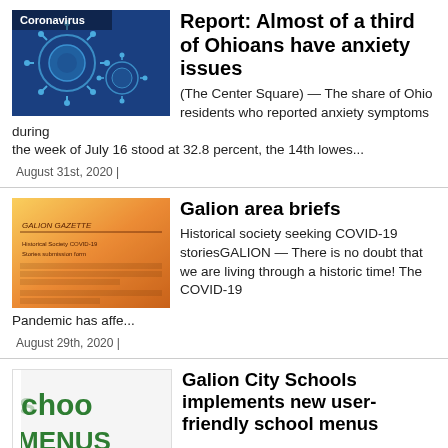[Figure (photo): Coronavirus blue image with virus particles and 'Coronavirus' label]
Report: Almost of a third of Ohioans have anxiety issues
(The Center Square) — The share of Ohio residents who reported anxiety symptoms during the week of July 16 stood at 32.8 percent, the 14th lowes...
August 31st, 2020 |
[Figure (photo): Warm gradient image with Galion text overlay]
Galion area briefs
Historical society seeking COVID-19 storiesGALION — There is no doubt that we are living through a historic time! The COVID-19 Pandemic has affe...
August 29th, 2020 |
[Figure (photo): School menus logo with green text 'school MENUS']
Galion City Schools implements new user-friendly school menus
GALION — Galion City Schools has implemented a new school menu program, My School Menus, to give students and families a more user-friendlyexper...
August 28th, 2020 |
[Figure (photo): Orange partial image at bottom]